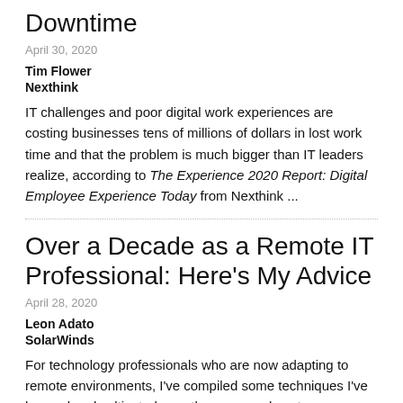Downtime
April 30, 2020
Tim Flower
Nexthink
IT challenges and poor digital work experiences are costing businesses tens of millions of dollars in lost work time and that the problem is much bigger than IT leaders realize, according to The Experience 2020 Report: Digital Employee Experience Today from Nexthink ...
Over a Decade as a Remote IT Professional: Here's My Advice
April 28, 2020
Leon Adato
SolarWinds
For technology professionals who are now adapting to remote environments, I've compiled some techniques I've learned and cultivated over the years on how to manage a